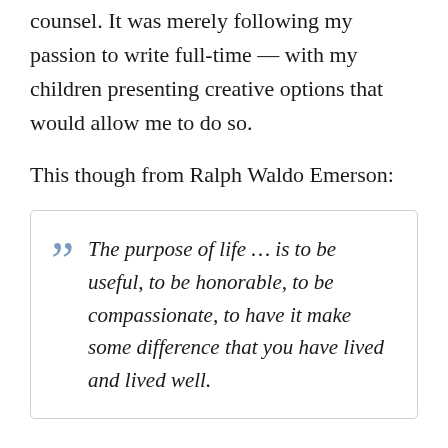counsel. It was merely following my passion to write full-time — with my children presenting creative options that would allow me to do so.
This though from Ralph Waldo Emerson:
The purpose of life … is to be useful, to be honorable, to be compassionate, to have it make some difference that you have lived and lived well.
We are all created with specific gifts and abilities and desires, and when you throw some life experiences into